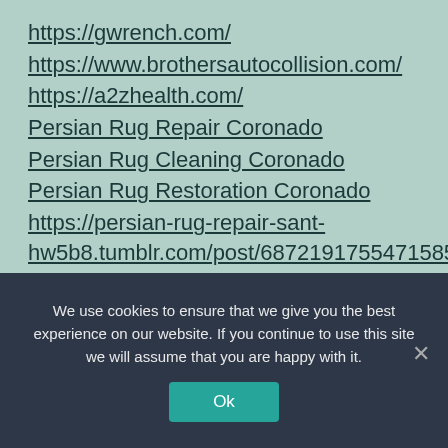https://gwrench.com/
https://www.brothersautocollision.com/
https://a2zhealth.com/
Persian Rug Repair Coronado
Persian Rug Cleaning Coronado
Persian Rug Restoration Coronado
https://persian-rug-repair-sant-hw5b8.tumblr.com/post/687219175547158528/persian-rug-repair-coronado
https://carpetcleaningblackmountainre557.blog...
We use cookies to ensure that we give you the best experience on our website. If you continue to use this site we will assume that you are happy with it.